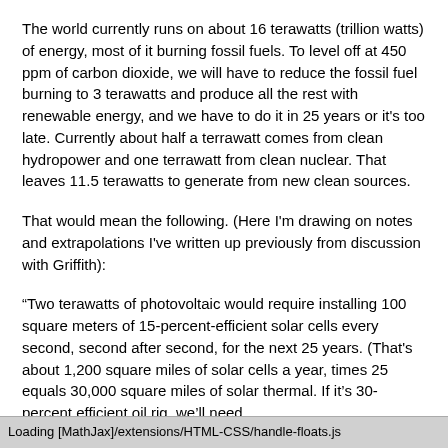The world currently runs on about 16 terawatts (trillion watts) of energy, most of it burning fossil fuels. To level off at 450 ppm of carbon dioxide, we will have to reduce the fossil fuel burning to 3 terawatts and produce all the rest with renewable energy, and we have to do it in 25 years or it's too late. Currently about half a terrawatt comes from clean hydropower and one terrawatt from clean nuclear. That leaves 11.5 terawatts to generate from new clean sources.
That would mean the following. (Here I'm drawing on notes and extrapolations I've written up previously from discussion with Griffith):
“Two terawatts of photovoltaic would require installing 100 square meters of 15-percent-efficient solar cells every second, second after second, for the next 25 years. (That's about 1,200 square miles of solar cells a year, times 25 equals 30,000 square miles of solar thermal. If it's 30-percent efficient oil rig, we'll need
Loading [MathJax]/extensions/HTML-CSS/handle-floats.js